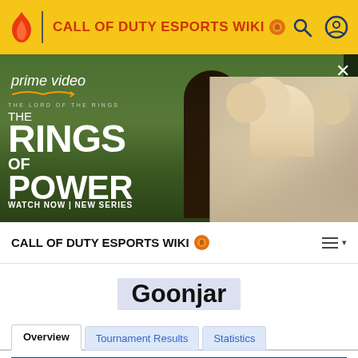CALL OF DUTY ESPORTS WIKI
[Figure (screenshot): Amazon Prime Video advertisement for The Lord of the Rings: The Rings of Power. Shows two figures and text 'WATCH NOW | NEW SERIES']
CALL OF DUTY ESPORTS WIKI
Goonjar
Overview | Tournament Results | Statistics
Goonjar